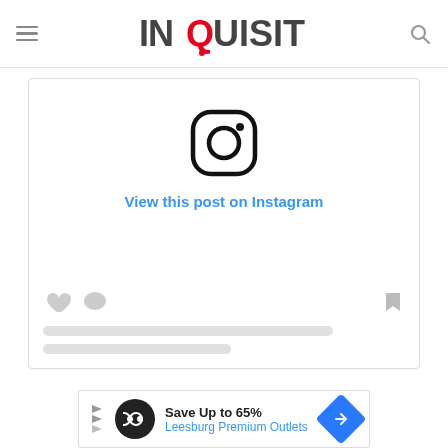INQUISITR
[Figure (screenshot): Instagram embed placeholder showing the Instagram camera icon and 'View this post on Instagram' link, with skeleton loading bars and action icons below]
[Figure (screenshot): Advertisement banner for Leesburg Premium Outlets: 'Save Up to 65% Leesburg Premium Outlets']